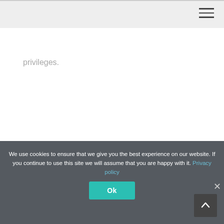privileges.
We use cookies to ensure that we give you the best experience on our website. If you continue to use this site we will assume that you are happy with it. Privacy policy
Ok